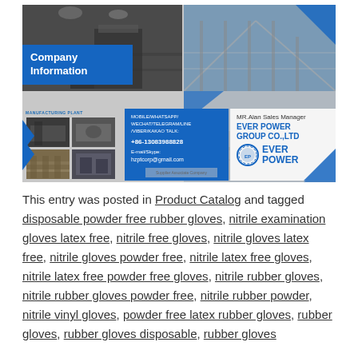[Figure (infographic): Company information banner for Ever Power Group Co., Ltd. showing factory/manufacturing plant images, company information overlay, contact details including mobile/whatsapp/wechat/telegram/line/viber/kakao talk number +86-13083988828, email hzptcorp@gmail.com, and MR. Alan Sales Manager branding with Ever Power logo.]
This entry was posted in Product Catalog and tagged disposable powder free rubber gloves, nitrile examination gloves latex free, nitrile free gloves, nitrile gloves latex free, nitrile gloves powder free, nitrile latex free gloves, nitrile latex free powder free gloves, nitrile rubber gloves, nitrile rubber gloves powder free, nitrile rubber powder, nitrile vinyl gloves, powder free latex rubber gloves, rubber gloves, rubber gloves disposable, rubber gloves